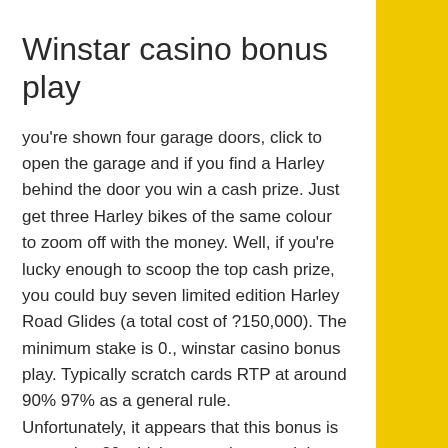Winstar casino bonus play
you're shown four garage doors, click to open the garage and if you find a Harley behind the door you win a cash prize. Just get three Harley bikes of the same colour to zoom off with the money. Well, if you're lucky enough to scoop the top cash prize, you could buy seven limited edition Harley Road Glides (a total cost of ?150,000). The minimum stake is 0., winstar casino bonus play. Typically scratch cards RTP at around 90% 97% as a general rule.
Unfortunately, it appears that this bonus is capped at 20 which some players might find a little miserly., winstar casino bonus play. Accidentally breaking the T&Cs at this stage